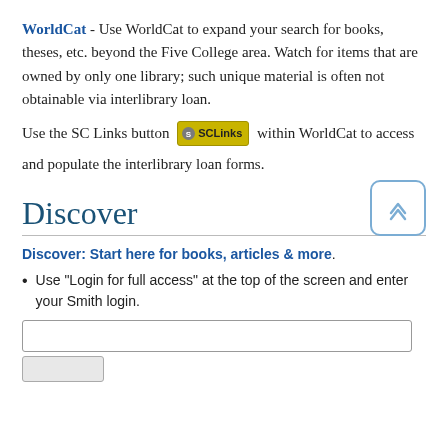WorldCat - Use WorldCat to expand your search for books, theses, etc. beyond the Five College area. Watch for items that are owned by only one library; such unique material is often not obtainable via interlibrary loan.
Use the SC Links button [SCLinks] within WorldCat to access and populate the interlibrary loan forms.
Discover
Discover: Start here for books, articles & more.
Use "Login for full access" at the top of the screen and enter your Smith login.